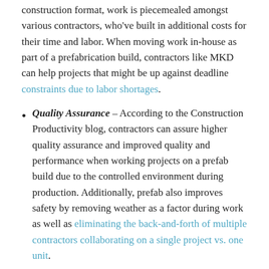construction format, work is piecemealed amongst various contractors, who've built in additional costs for their time and labor. When moving work in-house as part of a prefabrication build, contractors like MKD can help projects that might be up against deadline constraints due to labor shortages.
Quality Assurance – According to the Construction Productivity blog, contractors can assure higher quality assurance and improved quality and performance when working projects on a prefab build due to the controlled environment during production. Additionally, prefab also improves safety by removing weather as a factor during work as well as eliminating the back-and-forth of multiple contractors collaborating on a single project vs. one unit.
Prefabrication benefits are well documented and have been used by shops like MKD for years to help bring efficiencies to customers across dozens of industries including heavy